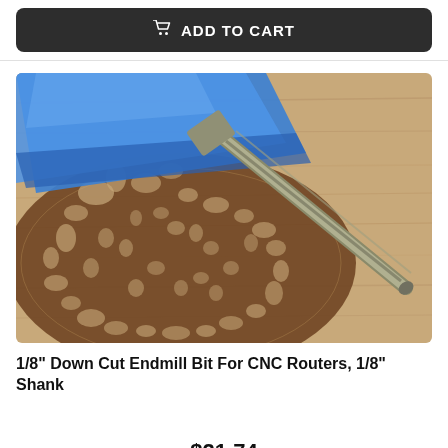[Figure (other): Add to Cart button with shopping cart icon on dark background]
[Figure (photo): Photo of a 1/8 inch down cut endmill bit for CNC routers with blue handle, resting on engraved wooden piece with ornate scroll pattern on a wood surface]
1/8" Down Cut Endmill Bit For CNC Routers, 1/8" Shank
$21.74